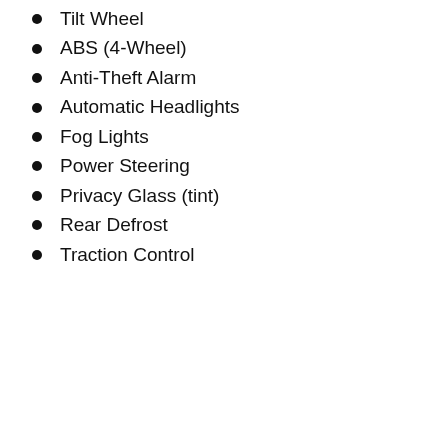Tilt Wheel
ABS (4-Wheel)
Anti-Theft Alarm
Automatic Headlights
Fog Lights
Power Steering
Privacy Glass (tint)
Rear Defrost
Traction Control